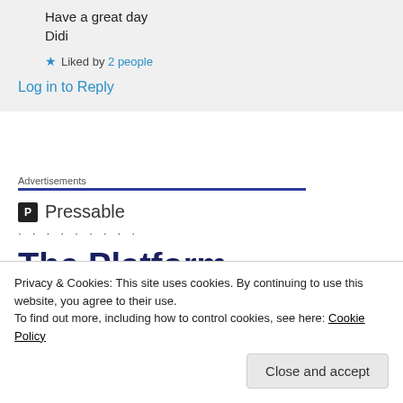Have a great day
Didi
★ Liked by 2 people
Log in to Reply
Advertisements
[Figure (logo): Pressable logo with P icon and dots]
The Platform Where WordPress
Privacy & Cookies: This site uses cookies. By continuing to use this website, you agree to their use. To find out more, including how to control cookies, see here: Cookie Policy